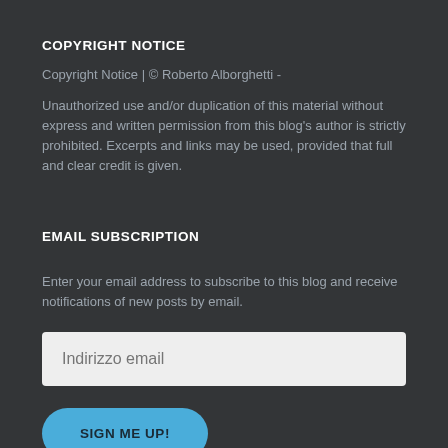COPYRIGHT NOTICE
Copyright Notice | © Roberto Alborghetti -
Unauthorized use and/or duplication of this material without express and written permission from this blog's author is strictly prohibited. Excerpts and links may be used, provided that full and clear credit is given.
EMAIL SUBSCRIPTION
Enter your email address to subscribe to this blog and receive notifications of new posts by email.
Indirizzo email
SIGN ME UP!